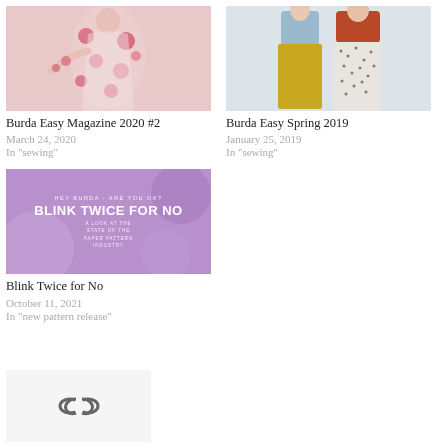[Figure (photo): Woman wearing a red floral long-sleeve dress on a light background]
Burda Easy Magazine 2020 #2
March 24, 2020
In "sewing"
[Figure (photo): Two women wearing colorful skirts - one yellow, one black and white patterned, with tops]
Burda Easy Spring 2019
January 25, 2019
In "sewing"
[Figure (illustration): Purple decorative banner image with text: HEY BURDA - ARE YOU OK? BLINK TWICE FOR NO. A LOOK AT THE STATE OF THE PAPER PATTERN INDUSTRY]
Blink Twice for No
October 11, 2021
In "new pattern release"
[Figure (other): Small icon of chain links or connected rings on a light grey background]